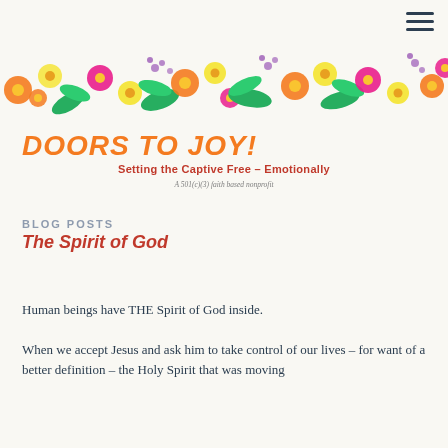[Figure (illustration): Colorful flower banner strip with orange, yellow, pink, magenta daisies and green leaves across the top of the page]
DOORS TO JOY!
Setting the Captive Free – Emotionally
A 501(c)(3) faith based nonprofit
BLOG POSTS
The Spirit of God
Human beings have THE Spirit of God inside.
When we accept Jesus and ask him to take control of our lives – for want of a better definition – the Holy Spirit that was moving